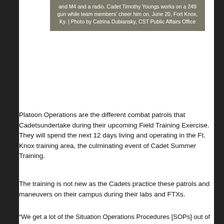and M4 and a radio. Cadet Timothy Youngs works on a 249 gun while team members' cheer him on, June 20, Fort Knox, Ky. | Photo by Catrina Dubiansky, CST Public Affairs Office
Platoon Operations are the different combat patrols that Cadetsundertake during their upcoming Field Training Exercise.  They will spend the next 12 days living and operating in the Ft. Knox training area, the culminating event of Cadet Summer Training.
The training is not new as the Cadets practice these patrols and maneuvers on their campus during their labs and FTXs.
“We get a lot of the Situation Operations Procedures [SOPs] out of the Ranger handbook,” said Anna Coleman, a student at the University of Georgia.  ‘There’s a lot of different ways to do a mission, we all decide on one plan as a platoon, making sure everyone is on the same page.”